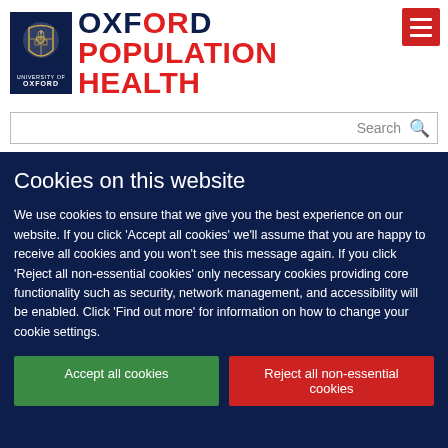[Figure (logo): Oxford Population Health logo with University of Oxford badge on left (dark navy background with shield crest), and text 'OXFORD POPULATION HEALTH' on right — OXFORD in navy/red, POPULATION HEALTH in red bold]
[Figure (other): Red hamburger menu button (three white horizontal bars on red square background) in top right corner]
Search
Cookies on this website
We use cookies to ensure that we give you the best experience on our website. If you click 'Accept all cookies' we'll assume that you are happy to receive all cookies and you won't see this message again. If you click 'Reject all non-essential cookies' only necessary cookies providing core functionality such as security, network management, and accessibility will be enabled. Click 'Find out more' for information on how to change your cookie settings.
Accept all cookies
Reject all non-essential cookies